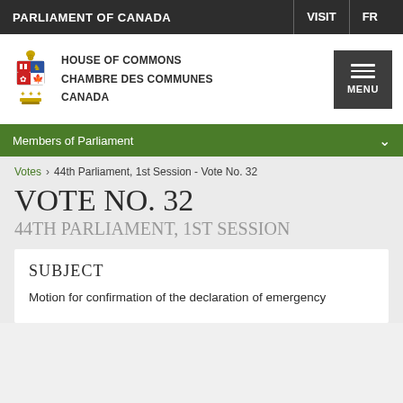PARLIAMENT OF CANADA | VISIT | FR
[Figure (logo): House of Commons coat of arms logo with text: HOUSE OF COMMONS / CHAMBRE DES COMMUNES / CANADA and a MENU button]
Members of Parliament
Votes > 44th Parliament, 1st Session - Vote No. 32
VOTE NO. 32
44TH PARLIAMENT, 1ST SESSION
SUBJECT
Motion for confirmation of the declaration of emergency